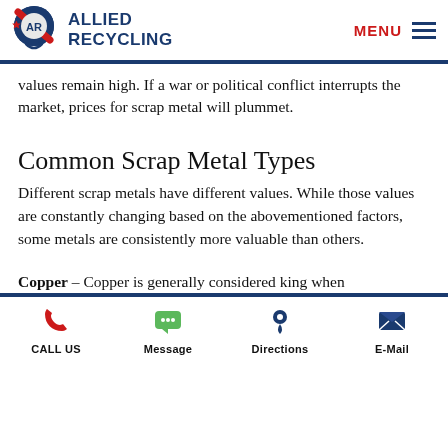ALLIED RECYCLING | MENU
values remain high. If a war or political conflict interrupts the market, prices for scrap metal will plummet.
Common Scrap Metal Types
Different scrap metals have different values. While those values are constantly changing based on the abovementioned factors, some metals are consistently more valuable than others.
Copper – Copper is generally considered king when it comes to the world of scrap metal. Co...
CALL US | Message | Directions | E-Mail